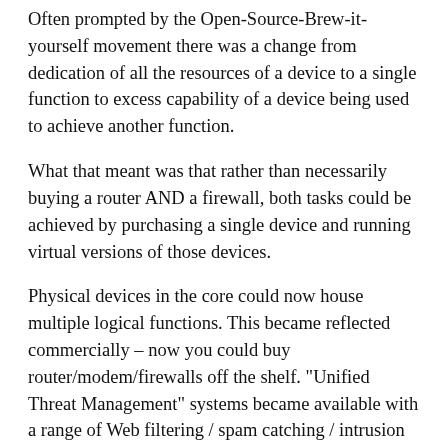Often prompted by the Open-Source-Brew-it-yourself movement there was a change from dedication of all the resources of a device to a single function to excess capability of a device being used to achieve another function.
What that meant was that rather than necessarily buying a router AND a firewall, both tasks could be achieved by purchasing a single device and running virtual versions of those devices.
Physical devices in the core could now house multiple logical functions. This became reflected commercially – now you could buy router/modem/firewalls off the shelf. "Unified Threat Management" systems became available with a range of Web filtering / spam catching / intrusion prevention capabilities. Indeed, carrier-class devices became capable of simulating entire networks